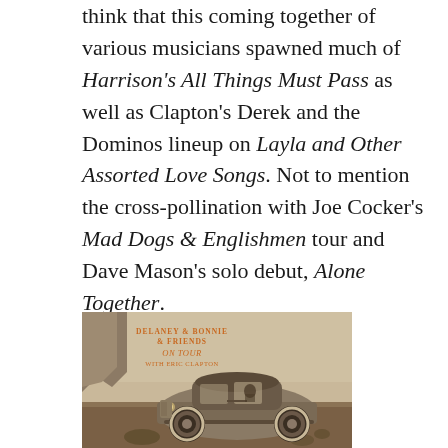think that this coming together of various musicians spawned much of Harrison's All Things Must Pass as well as Clapton's Derek and the Dominos lineup on Layla and Other Assorted Love Songs. Not to mention the cross-pollination with Joe Cocker's Mad Dogs & Englishmen tour and Dave Mason's solo debut, Alone Together.
[Figure (photo): Album cover of Delaney & Bonnie & Friends On Tour with Eric Clapton, showing a vintage Rolls-Royce style car in sepia/brown tones with text overlay in orange/brown lettering.]